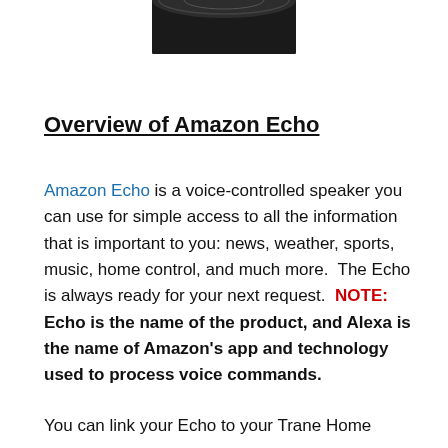[Figure (illustration): Partial view of an Amazon Echo device (top portion), appearing as a dark cylindrical speaker cropped at the top of the page.]
Overview of Amazon Echo
Amazon Echo is a voice-controlled speaker you can use for simple access to all the information that is important to you: news, weather, sports, music, home control, and much more.  The Echo is always ready for your next request.  NOTE: Echo is the name of the product, and Alexa is the name of Amazon's app and technology used to process voice commands.
You can link your Echo to your Trane Home